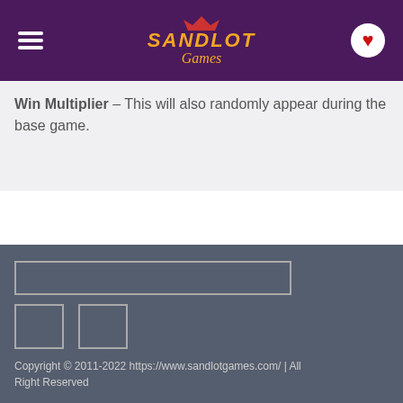Sandlot Games
Win Multiplier – This will also randomly appear during the base game.
Copyright © 2011-2022 https://www.sandlotgames.com/ | All Right Reserved